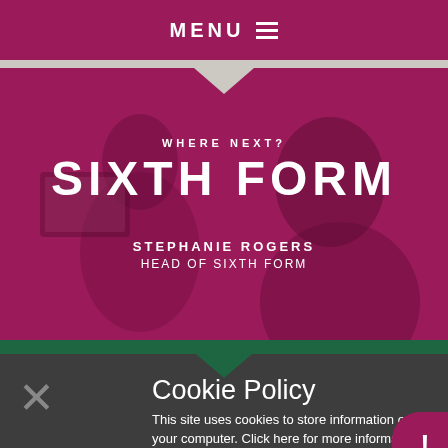MENU ≡
[Figure (photo): Two people (a woman and a man in a suit) at a computer, overlaid with a magenta/crimson colour wash. Text overlay reads WHERE NEXT? SIXTH FORM, STEPHANIE ROGERS, HEAD OF SIXTH FORM.]
WHERE NEXT? SIXTH FORM
STEPHANIE ROGERS
HEAD OF SIXTH FORM
Cookie Policy
This site uses cookies to store information on your computer. Click here for more information
Allow Cookies   Deny Cookies